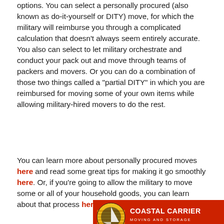options. You can select a personally procured (also known as do-it-yourself or DITY) move, for which the military will reimburse you through a complicated calculation that doesn't always seem entirely accurate. You also can select to let military orchestrate and conduct your pack out and move through teams of packers and movers. Or you can do a combination of those two things called a "partial DITY" in which you are reimbursed for moving some of your own items while allowing military-hired movers to do the rest.
You can learn more about personally procured moves here and read some great tips for making it go smoothly here. Or, if you're going to allow the military to move some or all of your household goods, you can learn about that process here.
[Figure (logo): Coastal Carrier Moving and Storage advertisement banner with red background, circular yellow/black logo with sailboat, and white text reading COASTAL CARRIER MOVING AND STORAGE]